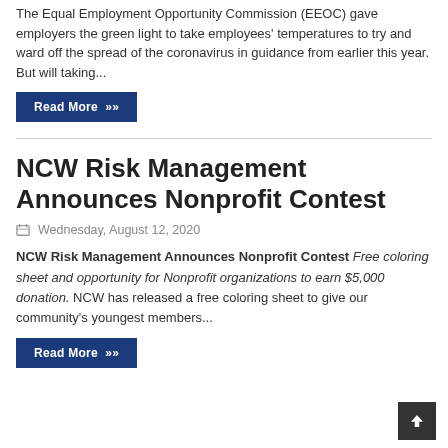The Equal Employment Opportunity Commission (EEOC) gave employers the green light to take employees' temperatures to try and ward off the spread of the coronavirus in guidance from earlier this year. But will taking...
Read More »
NCW Risk Management Announces Nonprofit Contest
Wednesday, August 12, 2020
NCW Risk Management Announces Nonprofit Contest Free coloring sheet and opportunity for Nonprofit organizations to earn $5,000 donation. NCW has released a free coloring sheet to give our community's youngest members...
Read More »